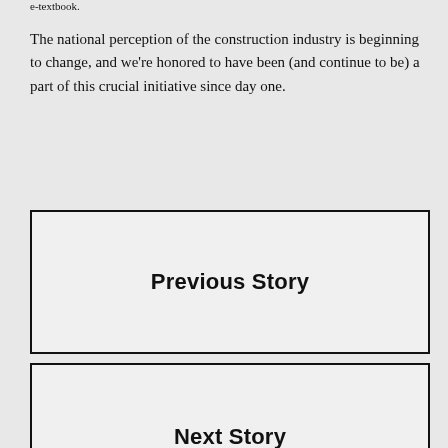e-textbook.
The national perception of the construction industry is beginning to change, and we're honored to have been (and continue to be) a part of this crucial initiative since day one.
Previous Story
Next Story